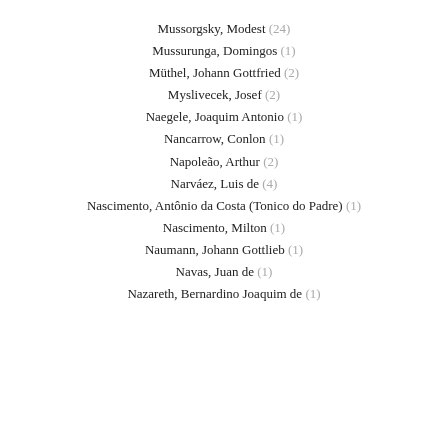Mussorgsky, Modest (24)
Mussurunga, Domingos (1)
Müthel, Johann Gottfried (2)
Myslivecek, Josef (2)
Naegele, Joaquim Antonio (1)
Nancarrow, Conlon (1)
Napoleão, Arthur (2)
Narváez, Luis de (4)
Nascimento, Antônio da Costa (Tonico do Padre) (1)
Nascimento, Milton (1)
Naumann, Johann Gottlieb (1)
Navas, Juan de (1)
Nazareth, Bernardino Joaquim de (1)